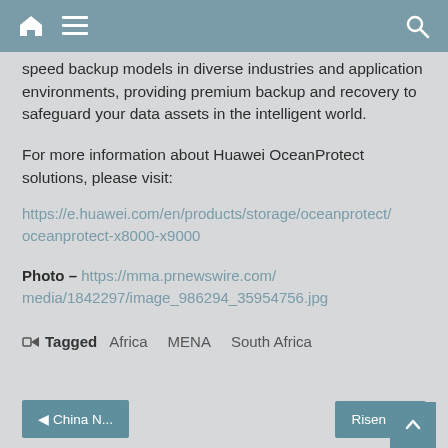[navigation bar with home, menu, search icons]
speed backup models in diverse industries and application environments, providing premium backup and recovery to safeguard your data assets in the intelligent world.
For more information about Huawei OceanProtect solutions, please visit:
https://e.huawei.com/en/products/storage/oceanprotect/oceanprotect-x8000-x9000
Photo – https://mma.prnewswire.com/media/1842297/image_986294_35954756.jpg
Tagged  Africa  MENA  South Africa
◀ China N...   Risen E...